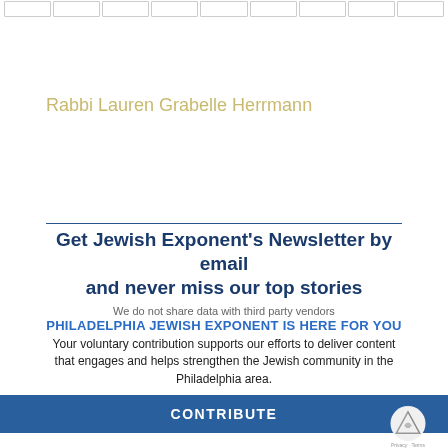[navigation bar with boxes]
Rabbi Lauren Grabelle Herrmann
Get Jewish Exponent's Newsletter by email and never miss our top stories
We do not share data with third party vendors
PHILADELPHIA JEWISH EXPONENT IS HERE FOR YOU
Your voluntary contribution supports our efforts to deliver content that engages and helps strengthen the Jewish community in the Philadelphia area.
CONTRIBUTE